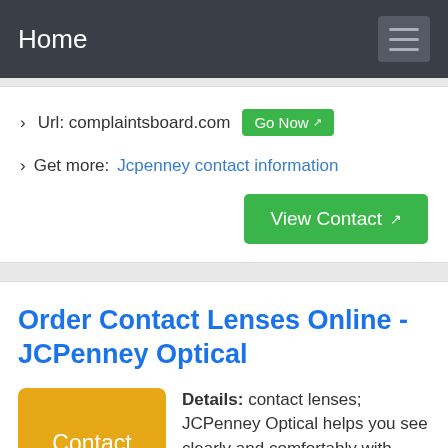Home
› Url: complaintsboard.com  Go Now
› Get more: Jcpenney contact information
Order Contact Lenses Online - JCPenney Optical
Details: contact lenses; JCPenney Optical helps you see clearly and comfortably with discount contact lenses. Find My Contacts The easiest way to order contacts online. Get your contacts shipped directly to